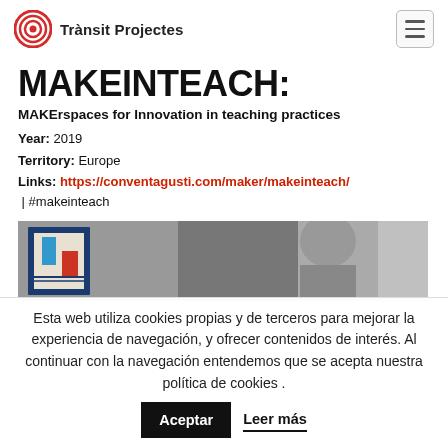Trànsit Projectes
MAKEINTEACH:
MAKErspaces for Innovation in teaching practices
Year: 2019
Territory: Europe
Links: https://conventagusti.com/maker/makeinteach/ | #makeinteach
[Figure (photo): Black and white photo of a person looking at a colorful artwork/card in a frame. A small card with red, blue, and beige colors is visible in the foreground.]
Esta web utiliza cookies propias y de terceros para mejorar la experiencia de navegación, y ofrecer contenidos de interés. Al continuar con la navegación entendemos que se acepta nuestra política de cookies .
Aceptar  Leer más